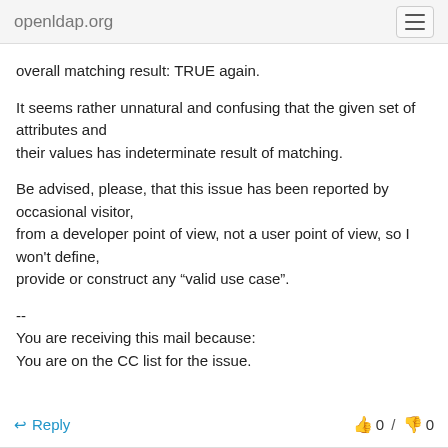openldap.org
overall matching result: TRUE again.
It seems rather unnatural and confusing that the given set of attributes and their values has indeterminate result of matching.
Be advised, please, that this issue has been reported by occasional visitor, from a developer point of view, not a user point of view, so I won't define, provide or construct any “valid use case”.
--
You are receiving this mail because:
You are on the CC list for the issue.
↩ Reply   0 / 0